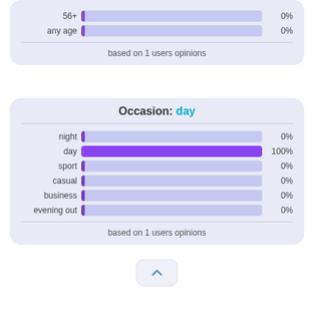[Figure (bar-chart): Age group (partial view)]
based on 1 users opinions
[Figure (bar-chart): Occasion: day]
based on 1 users opinions